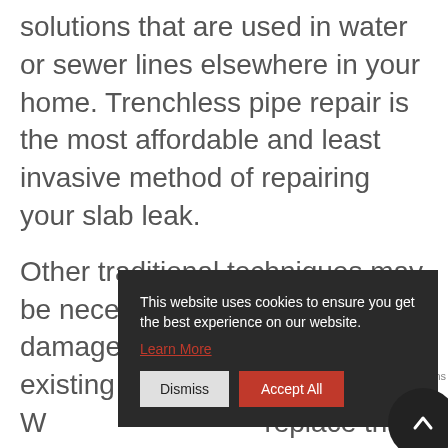solutions that are used in water or sewer lines elsewhere in your home. Trenchless pipe repair is the most affordable and least invasive method of repairing your slab leak.
Other traditional techniques may be necessary when extensive damage has occurred or your existing pipe cannot be repaired. W replace the depending and efficien
[Figure (screenshot): Cookie consent popup overlay with dark background. Text reads: 'This website uses cookies to ensure you get the best experience on our website.' with a 'Learn More' link in red/pink underlined text. Two buttons: 'Dismiss' (gray) and 'Accept All' (red). A dark circle scroll-to-top button with upward chevron icon is visible at the bottom right.]
As a home c can be one of the most serious plumbing